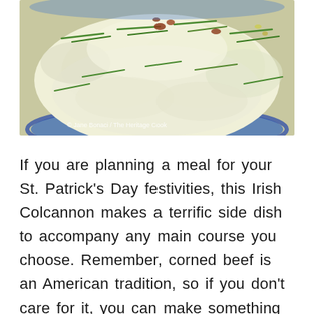[Figure (photo): Close-up photo of Irish Colcannon mashed potatoes in a blue bowl, topped with chopped green chives and bits of bacon. A watermark reads '© Jane Bonaci / The Heritage Cook'.]
If you are planning a meal for your St. Patrick's Day festivities, this Irish Colcannon makes a terrific side dish to accompany any main course you choose. Remember, corned beef is an American tradition, so if you don't care for it, you can make something else like the spicy lamb cobbler below! And don't miss the